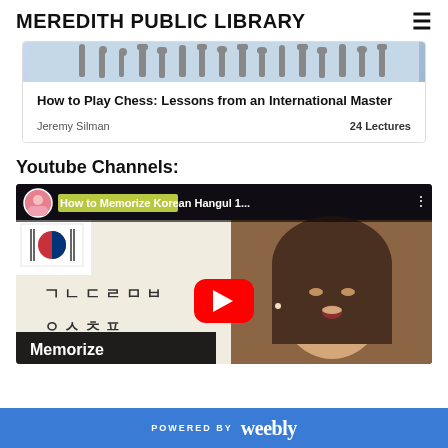MEREDITH PUBLIC LIBRARY
[Figure (screenshot): Card showing 'How to Play Chess: Lessons from an International Master' by Jeremy Silman, 24 Lectures]
Youtube Channels:
[Figure (screenshot): YouTube video thumbnail: 'How to Memorize Korean Hangul 1...' showing a woman teaching Korean characters on a whiteboard with YouTube play button overlay and 'Memorize' text at bottom]
POWERED BY weebly